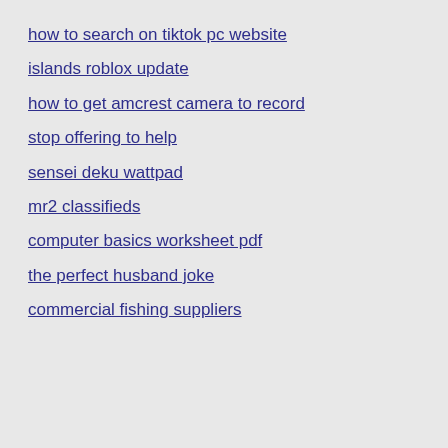how to search on tiktok pc website
islands roblox update
how to get amcrest camera to record
stop offering to help
sensei deku wattpad
mr2 classifieds
computer basics worksheet pdf
the perfect husband joke
commercial fishing suppliers